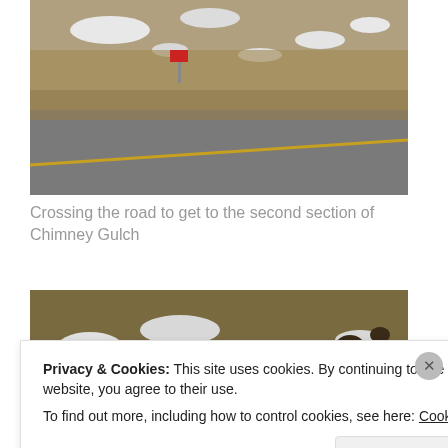[Figure (photo): A road with a yellow center line and a hillside with patches of snow and dry grass visible beyond the road.]
Crossing the road to get to the second section of Chimney Gulch
[Figure (photo): A snowy hillside with dry brown grass and some dark animal shapes visible on the slope.]
Privacy & Cookies: This site uses cookies. By continuing to use this website, you agree to their use.
To find out more, including how to control cookies, see here: Cookie Policy
Close and accept